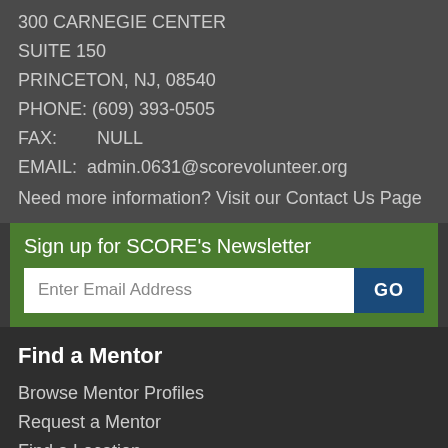300 CARNEGIE CENTER
SUITE 150
PRINCETON, NJ, 08540
PHONE: (609) 393-0505
FAX:        NULL
EMAIL:  admin.0631@scorevolunteer.org
Need more information? Visit our Contact Us Page
Sign up for SCORE's Newsletter
Enter Email Address
GO
Find a Mentor
Browse Mentor Profiles
Request a Mentor
Find a Location
Take a Workshop